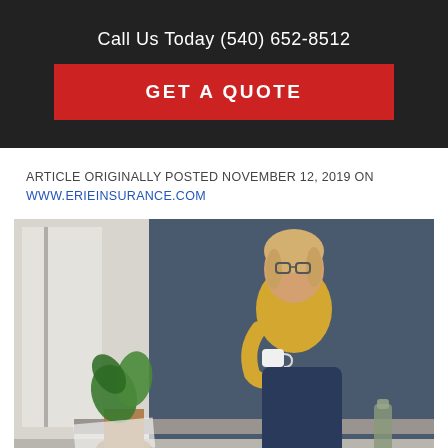Call Us Today (540) 652-8512
GET A QUOTE
ARTICLE ORIGINALLY POSTED NOVEMBER 12, 2019 ON WWW.ERIEINSURANCE.COM
[Figure (photo): Woman with glasses wearing yellow sweater sitting and holding a coffee cup, looking to the side. A potted plant is visible in the lower left and a blue wall in the background.]